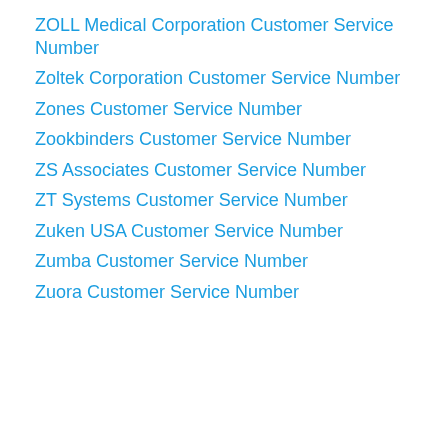ZOLL Medical Corporation Customer Service Number
Zoltek Corporation Customer Service Number
Zones Customer Service Number
Zookbinders Customer Service Number
ZS Associates Customer Service Number
ZT Systems Customer Service Number
Zuken USA Customer Service Number
Zumba Customer Service Number
Zuora Customer Service Number